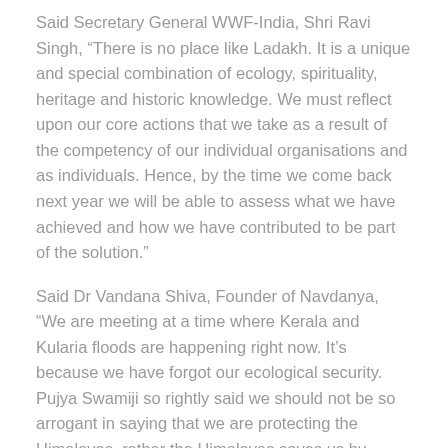Said Secretary General WWF-India, Shri Ravi Singh, “There is no place like Ladakh. It is a unique and special combination of ecology, spirituality, heritage and historic knowledge. We must reflect upon our core actions that we take as a result of the competency of our individual organisations and as individuals. Hence, by the time we come back next year we will be able to assess what we have achieved and how we have contributed to be part of the solution.”
Said Dr Vandana Shiva, Founder of Navdanya, “We are meeting at a time where Kerala and Kularia floods are happening right now. It’s because we have forgot our ecological security. Pujya Swamiji so rightly said we should not be so arrogant in saying that we are protecting the Himalayas, rather the Himalayas saves us by providing us with life-giving clean water, air, soil